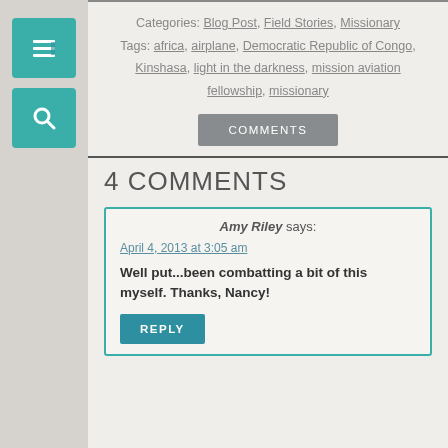Categories: Blog Post, Field Stories, Missionary
Tags: africa, airplane, Democratic Republic of Congo, Kinshasa, light in the darkness, mission aviation fellowship, missionary
COMMENTS
4 COMMENTS
Amy Riley says:
April 4, 2013 at 3:05 am
Well put...been combatting a bit of this myself. Thanks, Nancy!
REPLY